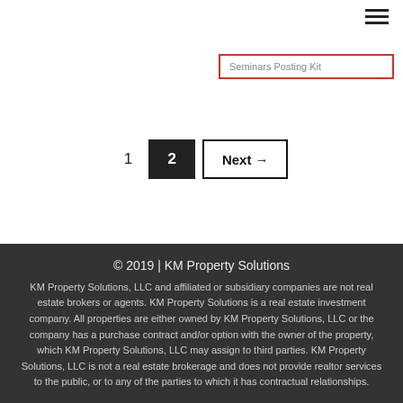Seminars Posting Kit
1   2   Next →
© 2019 | KM Property Solutions
KM Property Solutions, LLC and affiliated or subsidiary companies are not real estate brokers or agents. KM Property Solutions is a real estate investment company. All properties are either owned by KM Property Solutions, LLC or the company has a purchase contract and/or option with the owner of the property, which KM Property Solutions, LLC may assign to third parties. KM Property Solutions, LLC is not a real estate brokerage and does not provide realtor services to the public, or to any of the parties to which it has contractual relationships.